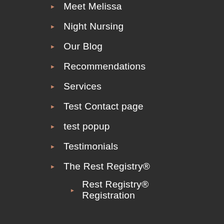Meet Melissa
Night Nursing
Our Blog
Recommendations
Services
Test Contact page
test popup
Testimonials
The Rest Registry®
Rest Registry® Registration